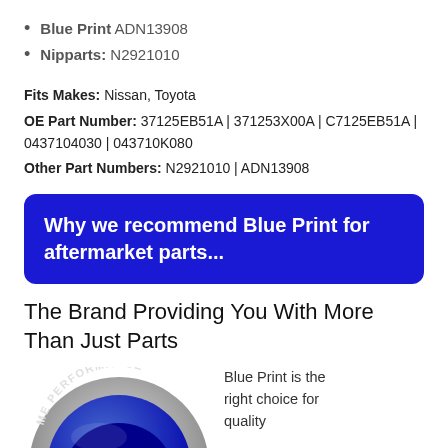Blue Print ADN13908
Nipparts: N2921010
Fits Makes: Nissan, Toyota
OE Part Number: 37125EB51A | 371253X00A | C7125EB51A | 0437104030 | 043710K080
Other Part Numbers: N2921010 | ADN13908
Why we recommend Blue Print for aftermarket parts...
The Brand Providing You With More Than Just Parts
Blue Print is the right choice for quality